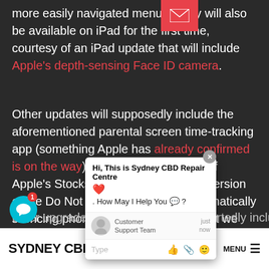more easily navigated menus. They will also be available on iPad for the first time, courtesy of an iPad update that will include Apple's depth-sensing Face ID camera.
Other updates will supposedly include the aforementioned parental screen time-tracking app (something Apple has already confirmed is on the way), a redesigned version of Apple's Stocks app, and an updated version of the Do Not Disturb service for automatically silencing phone calls. It is possible that we will get a more deeply integrated Siri search and the ability to have multiple people play ARKit games at the same time.
Later upgrades (not this year) will reportedly include new
[Figure (screenshot): Chat widget popup from Sydney CBD Repair Centre with a close button, greeting message 'Hi, This is Sydney CBD Repair Centre ❤️. How May I Help You 💬?', a customer support team avatar, timestamp 'just now', and a text input row at the bottom with thumbs up, paperclip, and emoji icons.]
SYDNEY CBD REPAIR CENTRE  MENU ☰